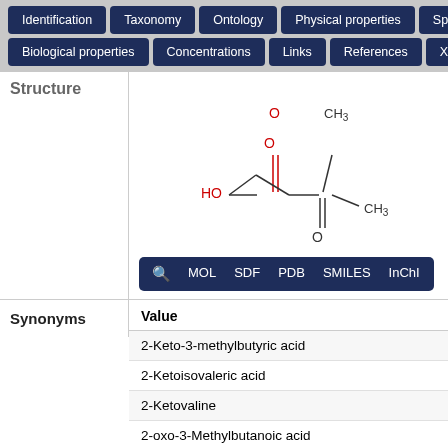Identification | Taxonomy | Ontology | Physical properties | Spectra | Biological properties | Concentrations | Links | References | XML
Structure
[Figure (engineering-diagram): Chemical structure of 2-oxo-3-methylbutanoic acid (alpha-ketoisovaleric acid). Shows a carboxylic acid group (HO-C=O) connected to a ketone carbon (C=O) connected to a CH group with two CH3 methyl groups.]
| Value |
| --- |
| 2-Keto-3-methylbutyric acid |
| 2-Ketoisovaleric acid |
| 2-Ketovaline |
| 2-oxo-3-Methylbutanoic acid |
| 2-oxo-3-Methylbutyric acid |
| 2-Oxoisovaleric acid |
Synonyms